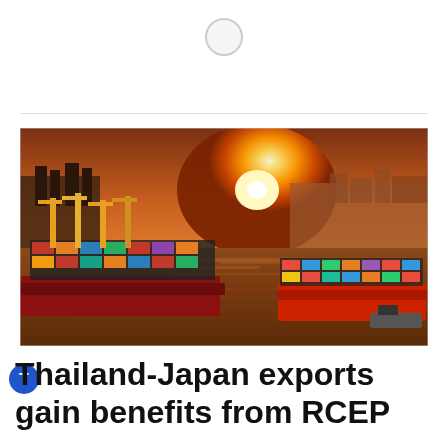[Figure (other): Loading spinner circle at top center of page]
[Figure (photo): Aerial view of a busy container shipping port at sunset, with colorful stacked containers, large container ships docked and one ship departing, cranes, and a dramatic orange and golden sunset sky reflecting on the water]
Thailand-Japan exports gain benefits from RCEP